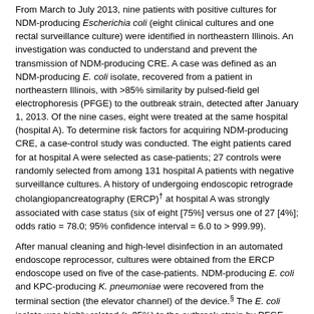From March to July 2013, nine patients with positive cultures for NDM-producing Escherichia coli (eight clinical cultures and one rectal surveillance culture) were identified in northeastern Illinois. An investigation was conducted to understand and prevent the transmission of NDM-producing CRE. A case was defined as an NDM-producing E. coli isolate, recovered from a patient in northeastern Illinois, with >85% similarity by pulsed-field gel electrophoresis (PFGE) to the outbreak strain, detected after January 1, 2013. Of the nine cases, eight were treated at the same hospital (hospital A). To determine risk factors for acquiring NDM-producing CRE, a case-control study was conducted. The eight patients cared for at hospital A were selected as case-patients; 27 controls were randomly selected from among 131 hospital A patients with negative surveillance cultures. A history of undergoing endoscopic retrograde cholangiopancreatography (ERCP)† at hospital A was strongly associated with case status (six of eight [75%] versus one of 27 [4%]; odds ratio = 78.0; 95% confidence interval = 6.0 to > 999.99).
After manual cleaning and high-level disinfection in an automated endoscope reprocessor, cultures were obtained from the ERCP endoscope used on five of the case-patients. NDM-producing E. coli and KPC-producing K. pneumoniae were recovered from the terminal section (the elevator channel) of the device.§ The E. coli isolate was highly related (> 95%) to the outbreak strain by PFGE. Retrospective review and direct observation of endoscope reprocessing did not identify lapses in protocol. Previous studies have shown an association between ERCP endoscopes and transmission of multidrug-resistant bacteria; the design of the ERCP endoscopes might pose a particular challenge for cleaning and disinfection (2,3).
Among 91 ERCP patients who were initially notified that they had potential exposure to a culture-positive endoscope, 50 returned for rectal surveillance